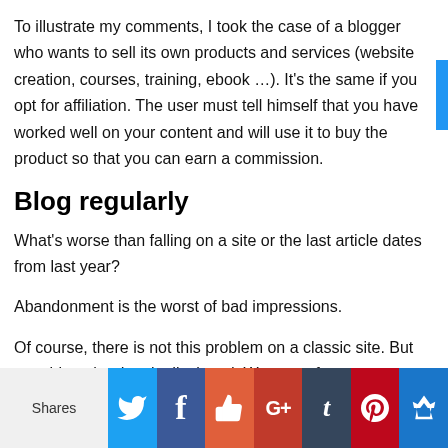To illustrate my comments, I took the case of a blogger who wants to sell its own products and services (website creation, courses, training, ebook …). It's the same if you opt for affiliation. The user must tell himself that you have worked well on your content and will use it to buy the product so that you can earn a commission.
Blog regularly
What's worse than falling on a site or the last article dates from last year?
Abandonment is the worst of bad impressions.
Of course, there is not this problem on a classic site. But on a blog, the date is displayed. We can, of course, remove it but it is not recommended.
[Figure (infographic): Social sharing bar with buttons: Shares label, Twitter, Facebook, Like (thumbs up), Google+, Tumblr, Pinterest, Crown/bookmark icon]